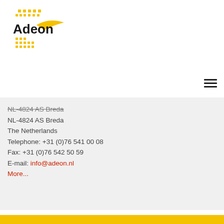[Figure (logo): Adeon company logo with yellow dots pattern and stylized text 'Adeon' with a yellow swoosh/wing element]
[Figure (other): Hamburger menu icon (three horizontal lines)]
NL-4824 AS Breda
The Netherlands
Telephone: +31 (0)76 541 00 08
Fax: +31 (0)76 542 50 59
E-mail: info@adeon.nl
More...